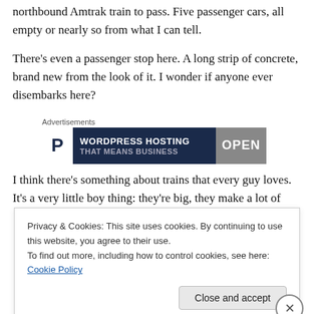northbound Amtrak train to pass. Five passenger cars, all empty or nearly so from what I can tell.
There's even a passenger stop here. A long strip of concrete, brand new from the look of it. I wonder if anyone ever disembarks here?
[Figure (screenshot): Advertisement banner for WordPress Hosting that means business, with Pressable P logo and an OPEN sign image]
I think there's something about trains that every guy loves. It's a very little boy thing: they're big, they make a lot of
Privacy & Cookies: This site uses cookies. By continuing to use this website, you agree to their use.
To find out more, including how to control cookies, see here: Cookie Policy
Close and accept